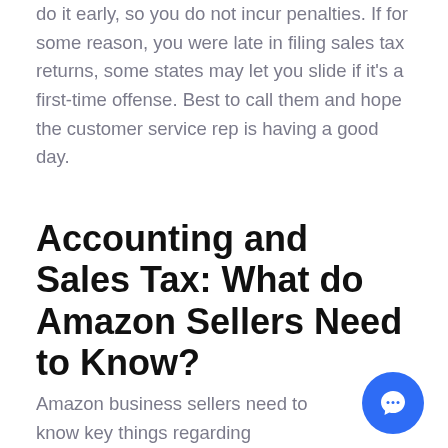do it early, so you do not incur penalties. If for some reason, you were late in filing sales tax returns, some states may let you slide if it's a first-time offense. Best to call them and hope the customer service rep is having a good day.
Accounting and Sales Tax: What do Amazon Sellers Need to Know?
Amazon business sellers need to know key things regarding accounting and sales